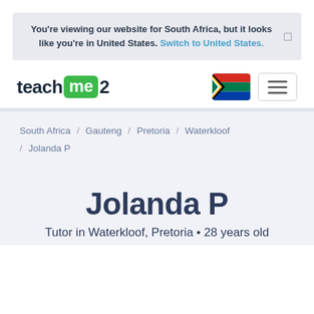You're viewing our website for South Africa, but it looks like you're in United States. Switch to United States.
[Figure (logo): teachme2 logo with green speech bubble style badge around 'me' and the number 2]
[Figure (other): South Africa flag icon in a rounded rectangle box]
[Figure (other): Hamburger menu icon (three horizontal lines) in a rounded rectangle box]
South Africa / Gauteng / Pretoria / Waterkloof / Jolanda P
Jolanda P
Tutor in Waterkloof, Pretoria • 28 years old